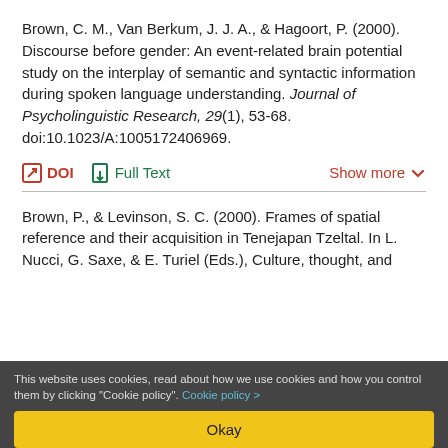Brown, C. M., Van Berkum, J. J. A., & Hagoort, P. (2000). Discourse before gender: An event-related brain potential study on the interplay of semantic and syntactic information during spoken language understanding. Journal of Psycholinguistic Research, 29(1), 53–68. doi:10.1023/A:1005172406969.
DOI | Full Text | Show more
Brown, P., & Levinson, S. C. (2000). Frames of spatial reference and their acquisition in Tenejapan Tzeltal. In L. Nucci, G. Saxe, & E. Turiel (Eds.), Culture, thought, and
This website uses cookies, read about how we use cookies and how you control them by clicking "Cookie policy". Cookie policy >
Okay